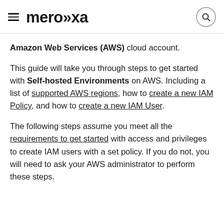meroxa
Amazon Web Services (AWS) cloud account.

This guide will take you through steps to get started with Self-hosted Environments on AWS. Including a list of supported AWS regions, how to create a new IAM Policy, and how to create a new IAM User.

The following steps assume you meet all the requirements to get started with access and privileges to create IAM users with a set policy. If you do not, you will need to ask your AWS administrator to perform these steps.